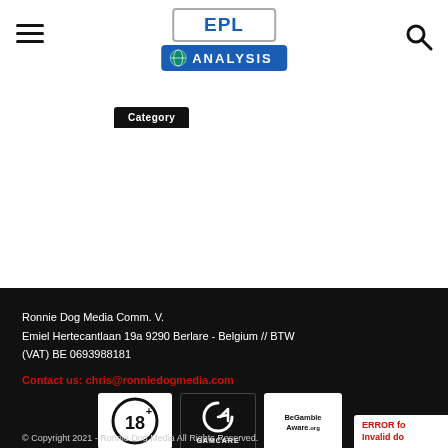[Figure (logo): EPL Analysis website logo with hamburger menu and search icon in header]
Ronnie Dog Media Comm. V.
Emiel Hertecantlaan 19a 9290 Berlare - Belgium // BTW (VAT) BE 0693988181

Contact us: chris@ronniedogmedia.com
[Figure (logo): 18+ logo badge (white on black circle)]
[Figure (logo): GamCare logo]
[Figure (logo): BeGambleAware.org logo]
© Copyright 2021 - Ronnie Dog Media All Rights Reserved.